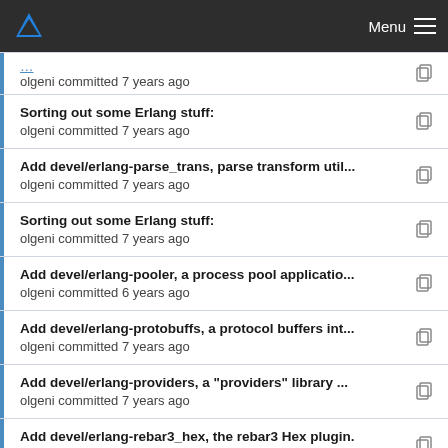Menu
olgeni committed 7 years ago
Sorting out some Erlang stuff:
olgeni committed 7 years ago
Add devel/erlang-parse_trans, parse transform util...
olgeni committed 7 years ago
Sorting out some Erlang stuff:
olgeni committed 7 years ago
Add devel/erlang-pooler, a process pool applicatio...
olgeni committed 6 years ago
Add devel/erlang-protobuffs, a protocol buffers int...
olgeni committed 7 years ago
Add devel/erlang-providers, a "providers" library ...
olgeni committed 7 years ago
Add devel/erlang-rebar3_hex, the rebar3 Hex plugin.
olgeni committed 7 years ago